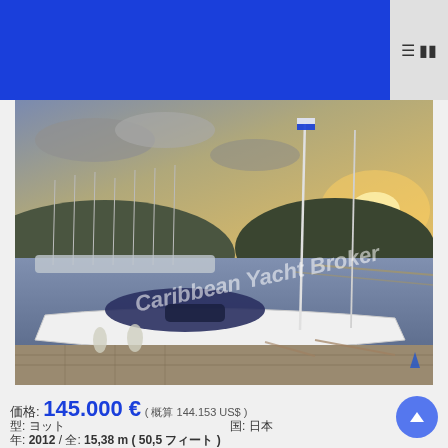[Figure (photo): Caribbean Yacht Broker watermarked photo of a white sailing yacht moored at a marina dock at sunset, with multiple sailboats and a hillside in the background under a cloudy sky.]
価格: 145.000 € ( 概算 144.153 US$ )
型: ヨット  国: 日本
年: 2012 / 全: 15,38 m ( 50,5 フィート )